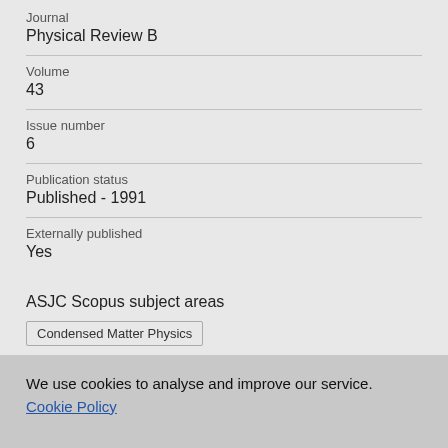Journal
Physical Review B
Volume
43
Issue number
6
Publication status
Published - 1991
Externally published
Yes
ASJC Scopus subject areas
Condensed Matter Physics
We use cookies to analyse and improve our service. Cookie Policy